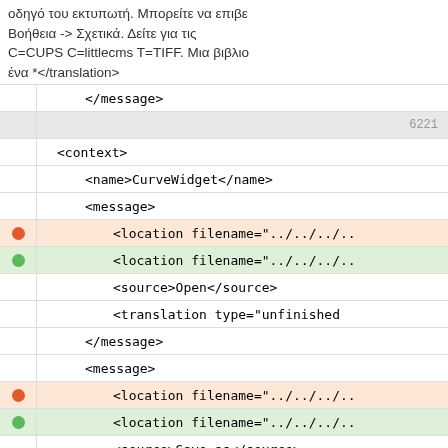οδηγό του εκτυπωτή. Μπορείτε να επιβε Βοήθεια -> Σχετικά. Δείτε για τις C=CUPS C=littlecms T=TIFF. Μια βιβλιο ένα *</translation>
</message>
6221
<context>
<name>CurveWidget</name>
<message>
<location filename="../../../..
<location filename="../../../..
<source>Open</source>
<translation type="unfinished
</message>
<message>
<location filename="../../../..
<location filename="../../../..
<source>Save as</source>
<translation type="unfinished
</message>
<message>
<location filename="../../../..
<location filename="../../../..
<location filename="../../../..